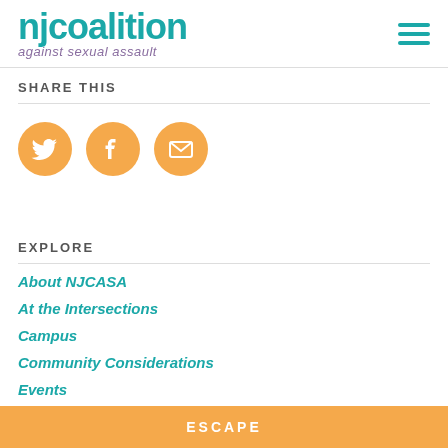[Figure (logo): NJ Coalition Against Sexual Assault logo with teal text and purple subtitle]
SHARE THIS
[Figure (infographic): Three orange circular social media icons: Twitter bird, Facebook f, and email envelope]
EXPLORE
About NJCASA
At the Intersections
Campus
Community Considerations
Events
ESCAPE